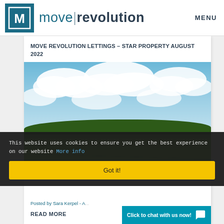[Figure (logo): Move Revolution logo — teal square with white M letter mark, followed by 'move|revolution' brand name in teal and dark text]
MENU
MOVE REVOLUTION LETTINGS – STAR PROPERTY AUGUST 2022
[Figure (photo): Outdoor property photo showing a bright blue sky with white clouds and a green grass field with trees in the background]
This website uses cookies to ensure you get the best experience on our website More info
Got it!
Posted by Sara Kerpel - A...
READ MORE
Click to chat with us now!